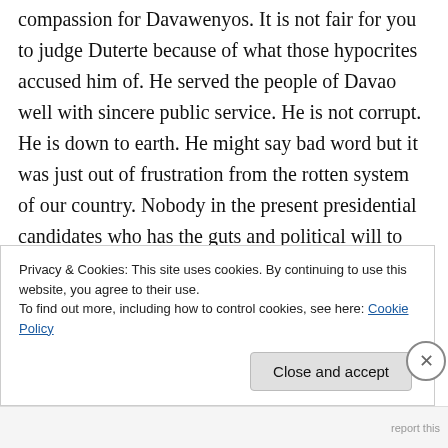compassion for Davawenyos. It is not fair for you to judge Duterte because of what those hypocrites accused him of. He served the people of Davao well with sincere public service. He is not corrupt. He is down to earth. He might say bad word but it was just out of frustration from the rotten system of our country. Nobody in the present presidential candidates who has the guts and political will to move our country forward. ROXAS- incompetent. POE-inexperience. BINAY-corrupt. SANTIAGO- I love her but like
Privacy & Cookies: This site uses cookies. By continuing to use this website, you agree to their use.
To find out more, including how to control cookies, see here: Cookie Policy
Close and accept